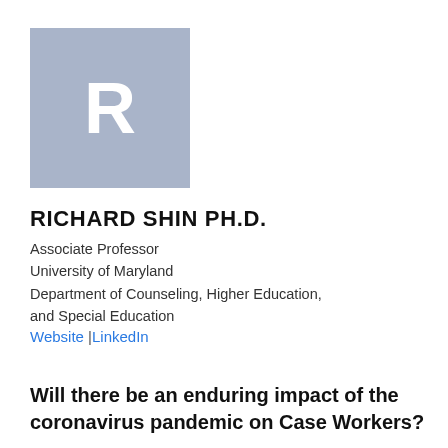[Figure (illustration): Avatar placeholder: grey/blue square with white letter R in the center]
RICHARD SHIN PH.D.
Associate Professor
University of Maryland
Department of Counseling, Higher Education, and Special Education
Website | LinkedIn
Will there be an enduring impact of the coronavirus pandemic on Case Workers?